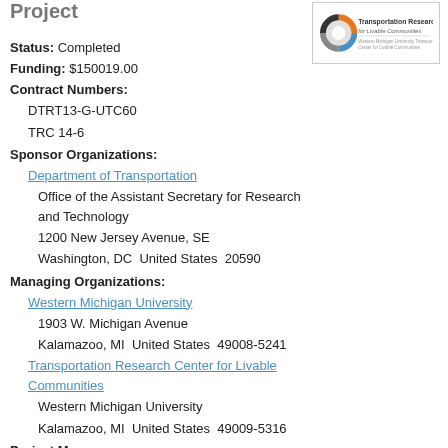Project
[Figure (logo): Transportation Research Center for Livable Communities logo with circular icon and text]
Status: Completed
Funding: $150019.00
Contract Numbers:
DTRT13-G-UTC60
TRC 14-6
Sponsor Organizations:
Department of Transportation
Office of the Assistant Secretary for Research and Technology
1200 New Jersey Avenue, SE
Washington, DC  United States  20590
Managing Organizations:
Western Michigan University
1903 W. Michigan Avenue
Kalamazoo, MI  United States  49008-5241
Transportation Research Center for Livable Communities
Western Michigan University
Kalamazoo, MI  United States  49009-5316
Project Managers:
Dunn, Denise
Performing Organizations:
Wayne State University